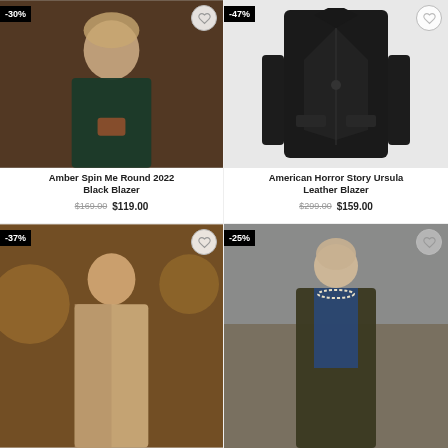[Figure (photo): Woman in dark blazer with campaign button, discount badge -30%, wishlist heart button]
Amber Spin Me Round 2022 Black Blazer
$169.00 $119.00
[Figure (photo): Black leather blazer on white background, discount badge -47%, wishlist heart button]
American Horror Story Ursula Leather Blazer
$299.00 $159.00
[Figure (photo): Woman in gold/beige blazer, warm evening light, discount badge -37%, wishlist heart button]
[Figure (photo): Older woman with pearl necklace, dark olive jacket, discount badge -25%, wishlist button]